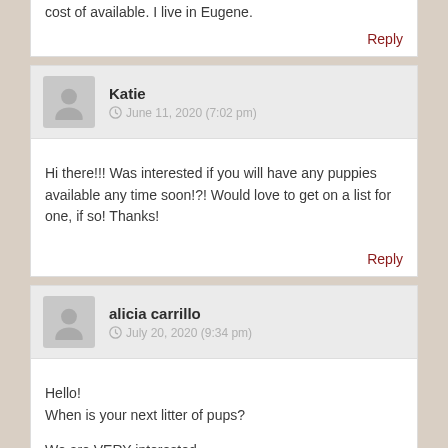cost of available. I live in Eugene.
Reply
Katie
June 11, 2020 (7:02 pm)
Hi there!!! Was interested if you will have any puppies available any time soon!?! Would love to get on a list for one, if so! Thanks!
Reply
alicia carrillo
July 20, 2020 (9:34 pm)
Hello!
When is your next litter of pups?

We are VERY interested.